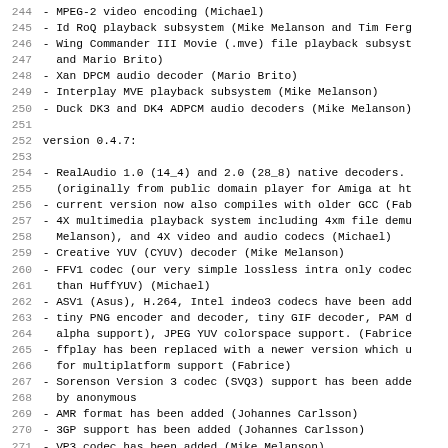244 - MPEG-2 video encoding (Michael)
245 - Id RoQ playback subsystem (Mike Melanson and Tim Ferg
246 - Wing Commander III Movie (.mve) file playback subsyst
247   and Mario Brito)
248 - Xan DPCM audio decoder (Mario Brito)
249 - Interplay MVE playback subsystem (Mike Melanson)
250 - Duck DK3 and DK4 ADPCM audio decoders (Mike Melanson)
251
252 version 0.4.7:
253
254 - RealAudio 1.0 (14_4) and 2.0 (28_8) native decoders.
255   (originally from public domain player for Amiga at ht
256 - current version now also compiles with older GCC (Fab
257 - 4X multimedia playback system including 4xm file demu
258   Melanson), and 4X video and audio codecs (Michael)
259 - Creative YUV (CYUV) decoder (Mike Melanson)
260 - FFV1 codec (our very simple lossless intra only codec
261   than HuffYUV) (Michael)
262 - ASV1 (Asus), H.264, Intel indeo3 codecs have been add
263 - tiny PNG encoder and decoder, tiny GIF decoder, PAM d
264   alpha support), JPEG YUV colorspace support. (Fabrice
265 - ffplay has been replaced with a newer version which u
266   for multiplatform support (Fabrice)
267 - Sorenson Version 3 codec (SVQ3) support has been adde
268   by anonymous
269 - AMR format has been added (Johannes Carlsson)
270 - 3GP support has been added (Johannes Carlsson)
271 - VP3 codec has been added (Mike Melanson)
272 - more MPEG-1/2 fixes
273 - better multiplatform support, MS Visual Studio fixes
274 - AltiVec optimizations (Magnus Damn and others)
275 - SH4 processor support has been added (BERO)